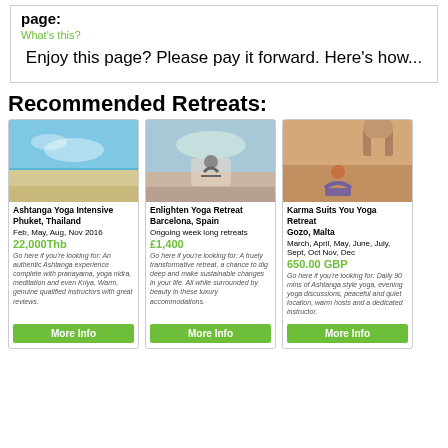page:
What's this?
Enjoy this page? Please pay it forward. Here's how...
Recommended Retreats:
[Figure (photo): Beach scene with turquoise water and sandy shore]
Ashtanga Yoga Intensive
Phuket, Thailand
Feb, May, Aug, Nov 2016
22,000Thb
Go here if you're looking for: An authentic Ashtanga experience complete with pranayama, yoga nidra, meditation and even Kriya. Warm, genuine qualified instructors with great reviews.
[Figure (photo): Person doing yoga pose near a pool]
Enlighten Yoga Retreat
Barcelona, Spain
Ongoing week long retreats
£1,400
Go here if you're looking for: A truely transformative retreat, a chance to dig deep and make sustainable changes in your life. All while surrounded by beauty in these luxury accommodations.
[Figure (photo): Person sitting on yoga mat outdoors in Malta]
Karma Suits You Yoga Retreat
Gozo, Malta
March, April, May, June, July, Sept, Oct Nov, Dec
650.00 GBP
Go here if you're looking for: Daily 90 mins of Ashtanga style yoga, evening yoga discussions, peaceful and quiet location, warm hosts and a dedicated instructor.